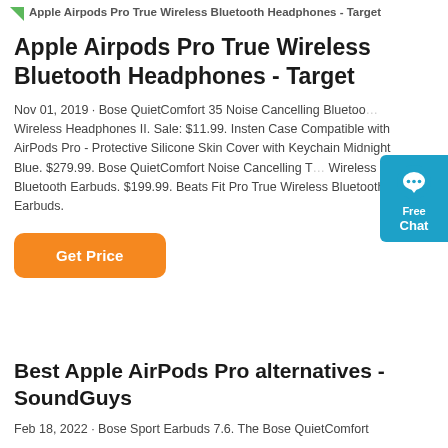Apple Airpods Pro True Wireless Bluetooth Headphones - Target
Apple Airpods Pro True Wireless Bluetooth Headphones - Target
Nov 01, 2019 · Bose QuietComfort 35 Noise Cancelling Bluetooth Wireless Headphones II. Sale: $11.99. Insten Case Compatible with AirPods Pro - Protective Silicone Skin Cover with Keychain Midnight Blue. $279.99. Bose QuietComfort Noise Cancelling True Wireless Bluetooth Earbuds. $199.99. Beats Fit Pro True Wireless Bluetooth Earbuds.
[Figure (other): Orange 'Get Price' button]
Best Apple AirPods Pro alternatives - SoundGuys
Feb 18, 2022 · Bose Sport Earbuds 7.6. The Bose QuietComfort